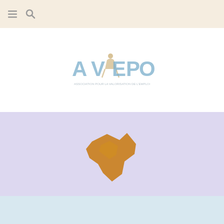[Figure (screenshot): Navigation bar with hamburger menu icon and search icon on a beige/cream background]
[Figure (logo): AVEPO organization logo - light blue and orange text with a human figure icon, text reads 'AVEPO' with subtitle text below]
[Figure (illustration): Orange/amber stylized checkmark or map shape icon on a light purple/lavender background]
[Figure (illustration): Light blue section at the bottom of the page]